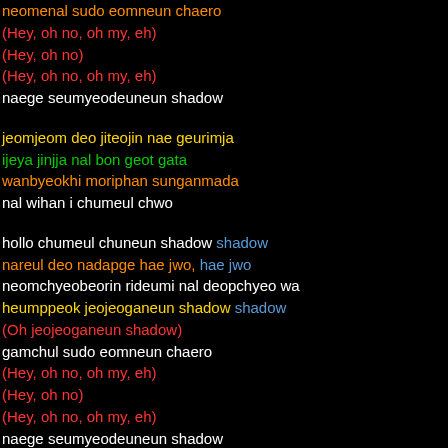neomenal sudo eomneun chaero
(Hey, oh no, oh my, eh)
(Hey, oh no)
(Hey, oh no, oh my, eh)
naege seumyeodeuneun shadow
jeomjeom deo jiteojin nae geurimja
ijeya jinjja nal bon geot gata
wanbyeokhi moriphan sunganmada
nal wihan i chumeul chwo
hollo chumeul chuneun shadow shadow
nareul deo nadapge hae jwo, hae jwo
neomchyeobeorin rideumi nal deopchyeo wa
heumppeok jeojeoganeun shadow shadow
(Oh jeojeoganeun shadow)
gamchul sudo eomneun chaero
(Hey, oh no, oh my, eh)
(Hey, oh no)
(Hey, oh no, oh my, eh)
naege seumyeodeuneun shadow